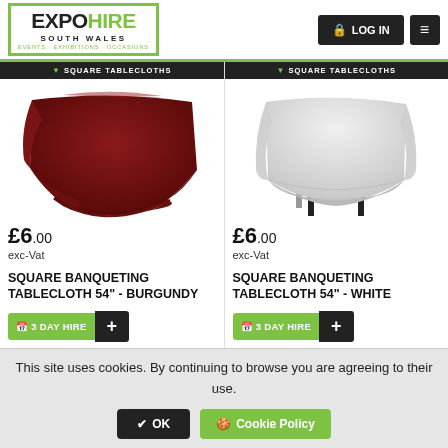EXPO HIRE SOUTH WALES | LOG IN | Menu
[Figure (photo): Burgundy square banqueting tablecloth draped over a table]
£6.00 exc-Vat
SQUARE BANQUETING TABLECLOTH 54" - BURGUNDY
📅 3 DAY HIRE +
[Figure (photo): White square banqueting tablecloth draped over a table with black legs visible]
£6.00 exc-Vat
SQUARE BANQUETING TABLECLOTH 54" - WHITE
📅 3 DAY HIRE +
This site uses cookies. By continuing to browse you are agreeing to their use.